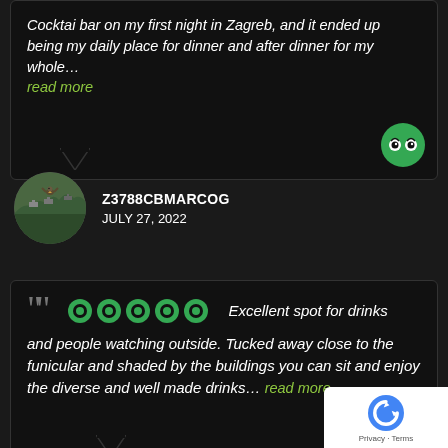Cocktai bar on my first night in Zagreb, and it ended up being my daily place for dinner and after dinner for my whole… read more
Z3788CBMARCOG
JULY 27, 2022
""  [5 stars]  Excellent spot for drinks and people watching outside. Tucked away close to the funicular and shaded by the buildings you can sit and enjoy the diverse and well made drinks… read more
JEFF T